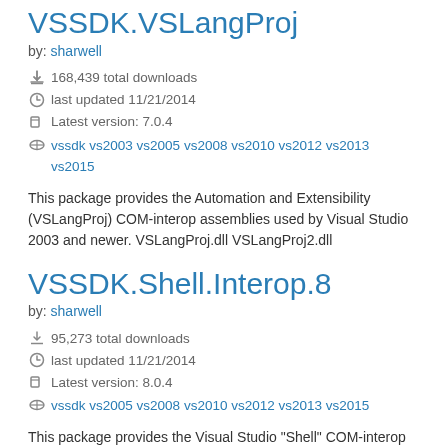VSSDK.VSLangProj
by: sharwell
168,439 total downloads
last updated 11/21/2014
Latest version: 7.0.4
vssdk vs2003 vs2005 vs2008 vs2010 vs2012 vs2013 vs2015
This package provides the Automation and Extensibility (VSLangProj) COM-interop assemblies used by Visual Studio 2003 and newer. VSLangProj.dll VSLangProj2.dll
VSSDK.Shell.Interop.8
by: sharwell
95,273 total downloads
last updated 11/21/2014
Latest version: 8.0.4
vssdk vs2005 vs2008 vs2010 vs2012 vs2013 vs2015
This package provides the Visual Studio "Shell" COM-interop assemblies used by Visual Studio 2005 and newer.